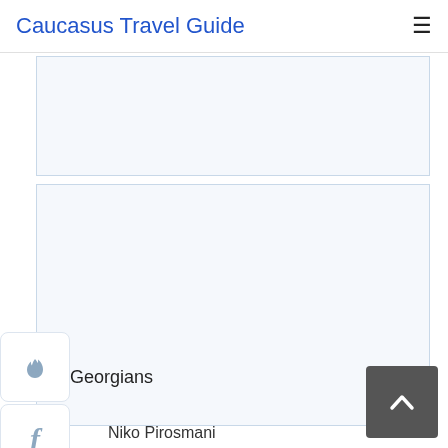Caucasus Travel Guide
[Figure (screenshot): Top advertisement/image placeholder box with light blue border]
[Figure (screenshot): Bottom advertisement/image placeholder box with light blue border]
[Figure (other): Social sidebar with icons: flame/fire (StumbleUpon), Facebook f, LinkedIn in, Google+, YouTube]
Georgians
Niko Pirosmani